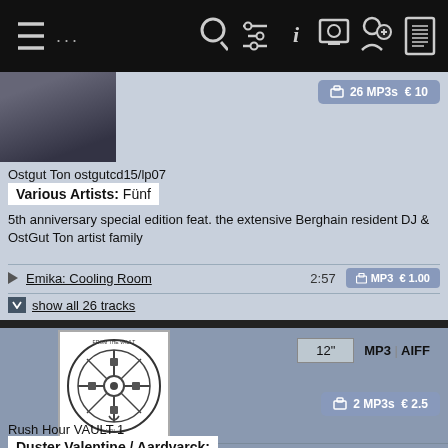[Figure (screenshot): Top navigation bar with menu icons, search, filter, info, and account/settings icons on black background]
Ostgut Ton ostgutcd15/lp07
Various Artists: Fünf
5th anniversary special edition feat. the extensive Berghain resident DJ & OstGut Ton artist family
Emika: Cooling Room  2:57  MP3 €1.00
show all 26 tracks
26 MP3s €10
[Figure (illustration): Circular logo/illustration for Rush Hour Vault 1 record label showing mechanical vault/wheel design on white background]
12"  MP3 | AIFF
2 MP3s €2.5
Rush Hour VAULT 1
Duster Valentine / Aardvarck: (My Back Is) Against The Wall / (Just Washed) That Pig
Raw Disco Sample House b/w Aardvarck classic in unreleased version
Duster Valentine: (My Back Is) Against The Wall  6:28  MP3 €1.25